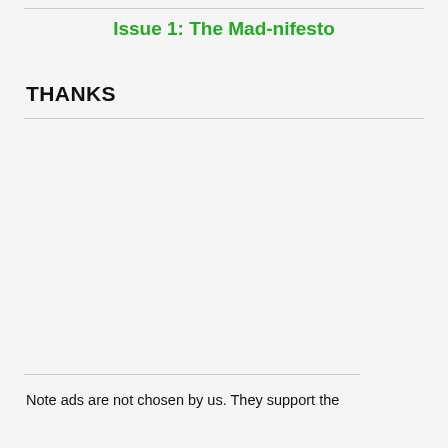Issue 1: The Mad-nifesto
THANKS
Note ads are not chosen by us. They support the